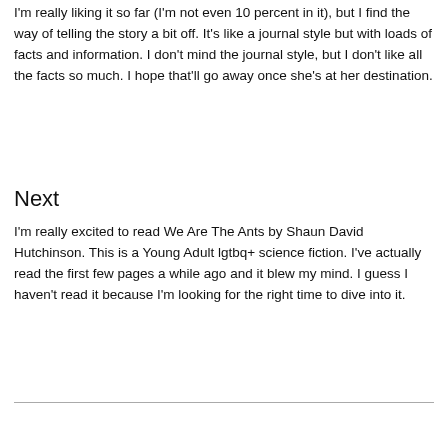I'm really liking it so far (I'm not even 10 percent in it), but I find the way of telling the story a bit off. It's like a journal style but with loads of facts and information. I don't mind the journal style, but I don't like all the facts so much. I hope that'll go away once she's at her destination.
Next
I'm really excited to read We Are The Ants by Shaun David Hutchinson. This is a Young Adult lgtbq+ science fiction. I've actually read the first few pages a while ago and it blew my mind. I guess I haven't read it because I'm looking for the right time to dive into it.